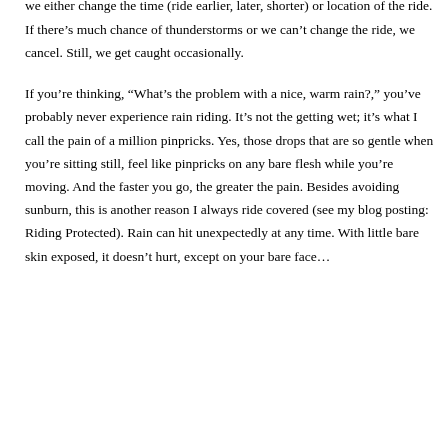carefully and frequently check the marine forecast and weather radar for the specific riding area. If the probability of precipitation is 40% or more, we either change the time (ride earlier, later, shorter) or location of the ride. If there's much chance of thunderstorms or we can't change the ride, we cancel. Still, we get caught occasionally.
If you're thinking, “What's the problem with a nice, warm rain?,” you've probably never experience rain riding. It's not the getting wet; it's what I call the pain of a million pinpricks. Yes, those drops that are so gentle when you're sitting still, feel like pinpricks on any bare flesh while you're moving. And the faster you go, the greater the pain. Besides avoiding sunburn, this is another reason I always ride covered (see my blog posting: Riding Protected). Rain can hit unexpectedly at any time. With little bare skin exposed, it doesn't hurt, except on your bare face…